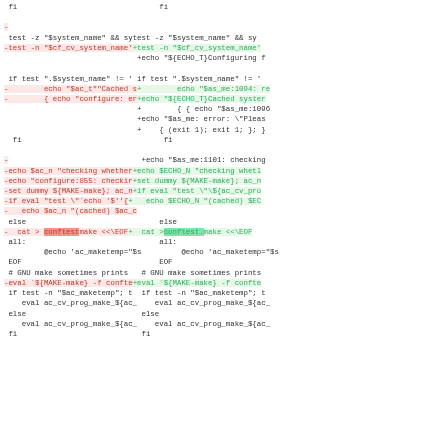[Figure (other): A diff view of shell/configure script code showing removed lines (red) and added lines (green) in two columns side by side. Shows changes related to system_name checking, conftest.make, and GNU make evaluation.]